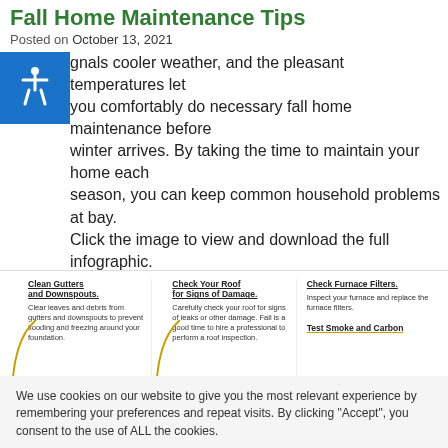Fall Home Maintenance Tips
Posted on October 13, 2021
…ignals cooler weather, and the pleasant temperatures let you comfortably do necessary fall home maintenance before winter arrives. By taking the time to maintain your home each season, you can keep common household problems at bay. Click the image to view and download the full infographic.
[Figure (infographic): Fall home maintenance tips infographic strip showing three columns: 'Clean Gutters and Downspouts' with text about clearing leaves and debris; 'Check Your Roof for Signs of Damage' with text about checking for leaks; 'Check Furnace Filters' with text about inspecting furnace; and partial 'Test Smoke and Carbon' heading.]
We use cookies on our website to give you the most relevant experience by remembering your preferences and repeat visits. By clicking "Accept", you consent to the use of ALL the cookies.